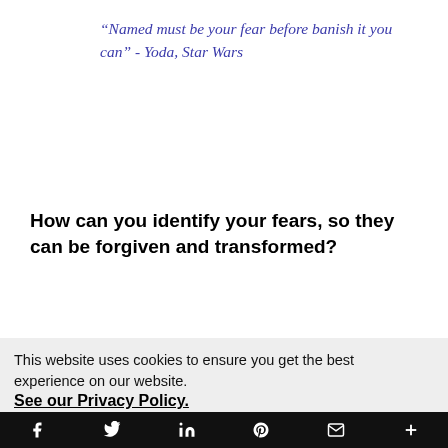“Named must be your fear before banish it you can” - Yoda, Star Wars
How can you identify your fears, so they can be forgiven and transformed?
If you are emotionally
[Figure (photo): Partially visible image, appears to be a phone or book on the right side]
This website uses cookies to ensure you get the best experience on our website. See our Privacy Policy.
I Accept
Social share bar: Facebook, Twitter, LinkedIn, Pinterest, Email, More